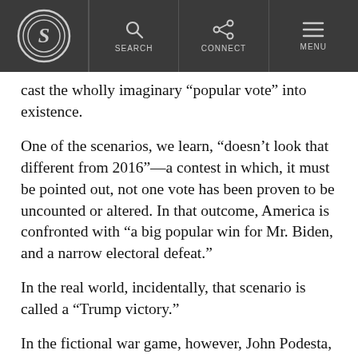S | SEARCH | CONNECT | MENU
cast the wholly imaginary “popular vote” into existence.
One of the scenarios, we learn, “doesn’t look that different from 2016”—a contest in which, it must be pointed out, not one vote has been proven to be uncounted or altered. In that outcome, America is confronted with “a big popular win for Mr. Biden, and a narrow electoral defeat.”
In the real world, incidentally, that scenario is called a “Trump victory.”
In the fictional war game, however, John Podesta, playing the role of Biden, contends that his party